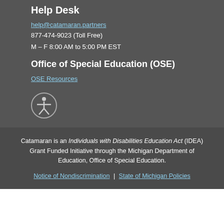Help Desk
help@catamaran.partners
877-474-9023 (Toll Free)
M – F 8:00 AM to 5:00 PM EST
Office of Special Education (OSE)
OSE Resources
[Figure (illustration): Accessibility icon: a circle with a stylized human figure with arms outstretched, representing accessibility features]
Catamaran is an Individuals with Disabilities Education Act (IDEA) Grant Funded Initiative through the Michigan Department of Education, Office of Special Education.
Notice of Nondiscrimination | State of Michigan Policies